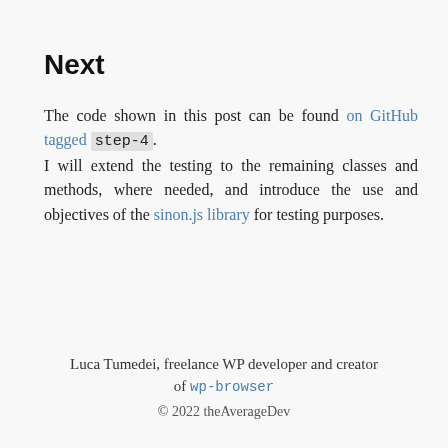Next
The code shown in this post can be found on GitHub tagged step-4.
I will extend the testing to the remaining classes and methods, where needed, and introduce the use and objectives of the sinon.js library for testing purposes.
Luca Tumedei, freelance WP developer and creator of wp-browser
© 2022 theAverageDev